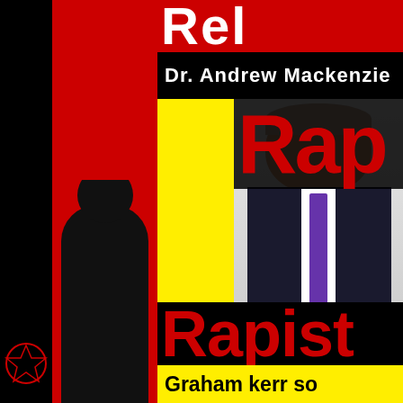[Figure (illustration): Graphic image combining text overlays, colored stripes (red, yellow, white, black), a photo of a man in a suit with a purple tie, a pentagram symbol, and large bold red and white text forming a defamatory poster.]